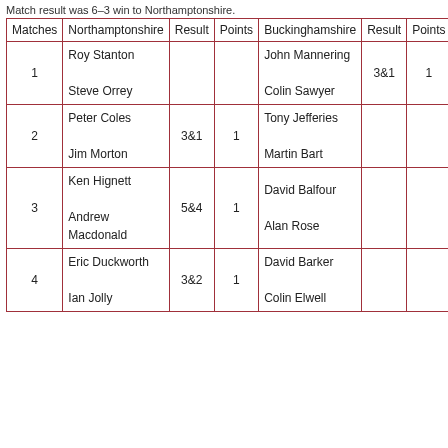Match result was 6-3 win to Northamptonshire.
| Matches | Northamptonshire | Result | Points | Buckinghamshire | Result | Points |
| --- | --- | --- | --- | --- | --- | --- |
| 1 | Roy Stanton
Steve Orrey |  |  | John Mannering
Colin Sawyer | 3&1 | 1 |
| 2 | Peter Coles
Jim Morton | 3&1 | 1 | Tony Jefferies
Martin Bart |  |  |
| 3 | Ken Hignett
Andrew Macdonald | 5&4 | 1 | David Balfour
Alan Rose |  |  |
| 4 | Eric Duckworth
Ian Jolly | 3&2 | 1 | David Barker
Colin Elwell |  |  |